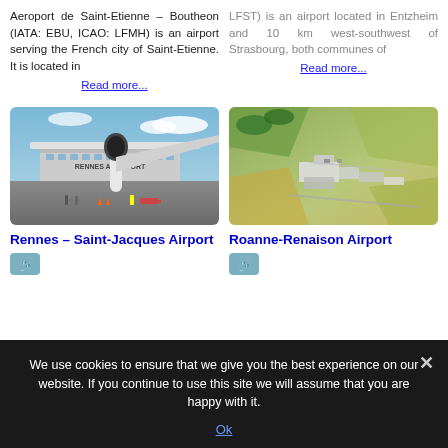Aeroport de Saint-Etienne – Boutheon (IATA: EBU, ICAO: LFMH) is an airport serving the French city of Saint-Etienne. It is located in Read more...
LFST) is an airport located in Entzheim and 10 km west-southwest of Strasbourg, both communes of Read more...
[Figure (photo): Photo of Rennes airport with an aircraft on the tarmac and terminal building in background reading 'RENNES AEROPORT']
[Figure (photo): Aerial photo of Roanne-Renaison Airport showing runway and surrounding farmland from above]
Rennes – Saint-Jacques Airport
Roanne-Renaison Airport
We use cookies to ensure that we give you the best experience on our website. If you continue to use this site we will assume that you are happy with it. Ok